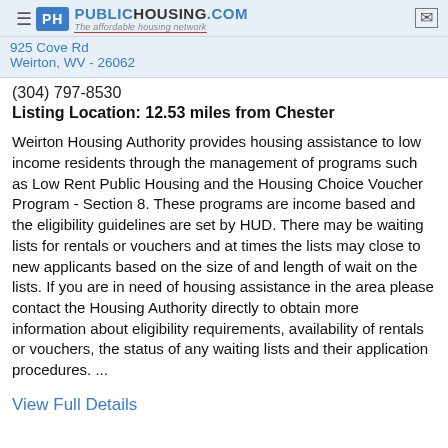Weirton Housing Authority - Weirton | PublicHousing.com - The affordable housing network
925 Cove Rd
Weirton, WV - 26062
(304) 797-8530
Listing Location: 12.53 miles from Chester
Weirton Housing Authority provides housing assistance to low income residents through the management of programs such as Low Rent Public Housing and the Housing Choice Voucher Program - Section 8. These programs are income based and the eligibility guidelines are set by HUD. There may be waiting lists for rentals or vouchers and at times the lists may close to new applicants based on the size of and length of wait on the lists. If you are in need of housing assistance in the area please contact the Housing Authority directly to obtain more information about eligibility requirements, availability of rentals or vouchers, the status of any waiting lists and their application procedures. ...
View Full Details